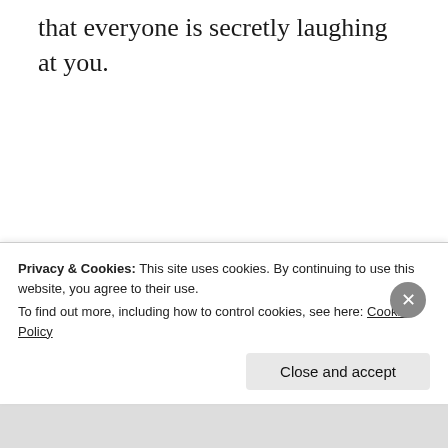that everyone is secretly laughing at you.
Written by J. S. Wydra: @jswydra
Additional, unrelated news: @actlnews
Want to write for this site? Click here to learn how to contribute
Privacy & Cookies: This site uses cookies. By continuing to use this website, you agree to their use.
To find out more, including how to control cookies, see here: Cookie Policy
Close and accept